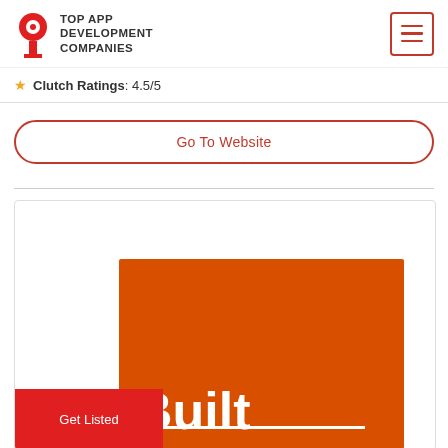TOP APP DEVELOPMENT COMPANIES
Clutch Ratings: 4.5/5
Go To Website
[Figure (screenshot): A company logo image card with orange background showing the word 'Built' in large white bold text with a white underline bar, and a red 'Get Listed' button in the lower left corner.]